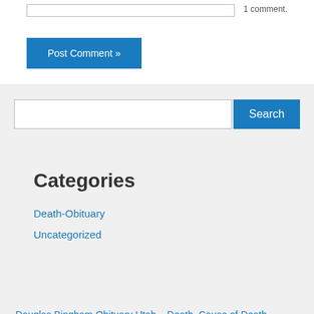1 comment.
Post Comment »
Search
Categories
Death-Obituary
Uncategorized
Douglas Bingham Obituary Utah – Death, Cause of Death